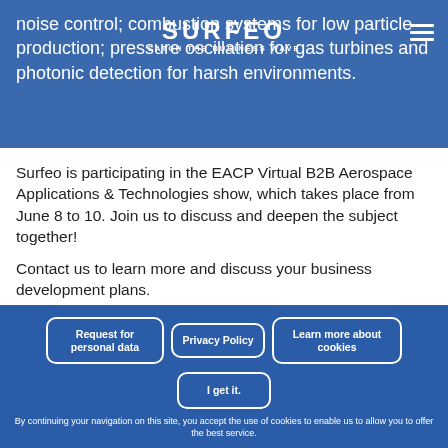noise control; combustion systems for low particle production; pressure oscillation for gas turbines and photonic detection for harsh environments.
[Figure (logo): SURFEO logo with tagline CATCH THE BUSINESS WAVE]
Surfeo is participating in the EACP Virtual B2B Aerospace Applications & Technologies show, which takes place from June 8 to 10. Join us to discuss and deepen the subject together!
Contact us to learn more and discuss your business development plans.
Request for personal data
Privacy Policy
Learn more about cookies
I get it.
By continuing your navigation on this site, you accept the use of cookies to enable us to allow you to offer the best service.